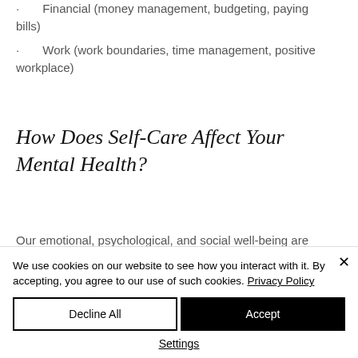Financial (money management, budgeting, paying bills)
Work (work boundaries, time management, positive workplace)
How Does Self-Care Affect Your Mental Health?
Our emotional, psychological, and social well-being are part of our mental health and influence how we feel...
We use cookies on our website to see how you interact with it. By accepting, you agree to our use of such cookies. Privacy Policy
Decline All | Accept | Settings